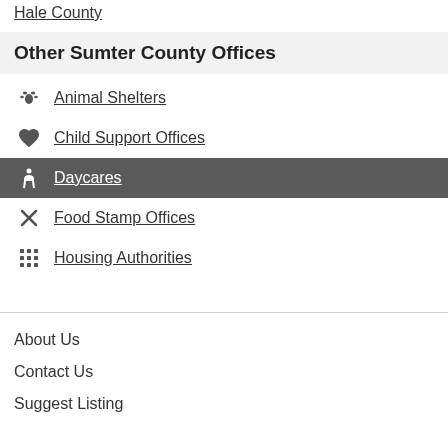Hale County
Other Sumter County Offices
Animal Shelters
Child Support Offices
Daycares
Food Stamp Offices
Housing Authorities
About Us
Contact Us
Suggest Listing